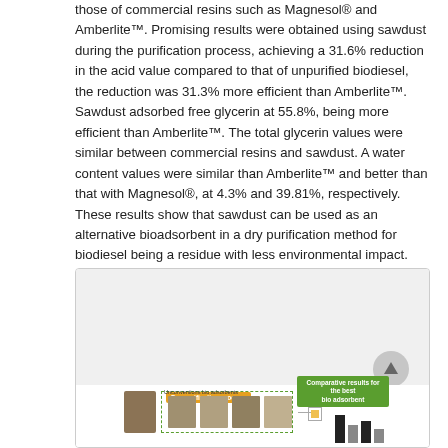those of commercial resins such as Magnesol® and Amberlite™. Promising results were obtained using sawdust during the purification process, achieving a 31.6% reduction in the acid value compared to that of unpurified biodiesel, the reduction was 31.3% more efficient than Amberlite™. Sawdust adsorbed free glycerin at 55.8%, being more efficient than Amberlite™. The total glycerin values were similar between commercial resins and sawdust. A water content values were similar than Amberlite™ and better than that with Magnesol®, at 4.3% and 39.81%, respectively. These results show that sawdust can be used as an alternative bioadsorbent in a dry purification method for biodiesel being a residue with less environmental impact.
[Figure (infographic): Graphical abstract showing a dry purification process flowchart with unconventional bio adsorbents (including sawdust images) on the left, and a comparative results bar chart for the best bio adsorbent on the right. Labels include 'Dry purification process', 'Unconventions bio adsorbents', and 'Comparative results for the best bio adsorbent'.]